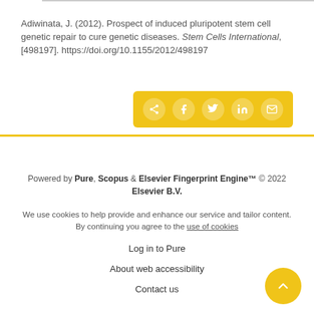Adiwinata, J. (2012). Prospect of induced pluripotent stem cell genetic repair to cure genetic diseases. Stem Cells International, [498197]. https://doi.org/10.1155/2012/498197
[Figure (infographic): Yellow share button bar with social media icons: share, Facebook, Twitter, LinkedIn, email]
Powered by Pure, Scopus & Elsevier Fingerprint Engine™ © 2022 Elsevier B.V.
We use cookies to help provide and enhance our service and tailor content. By continuing you agree to the use of cookies
Log in to Pure
About web accessibility
Contact us